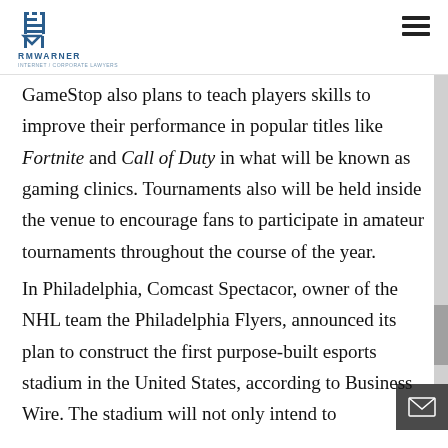RM WARNER | INTERNET / CORPORATE LAWYERS
GameStop also plans to teach players skills to improve their performance in popular titles like Fortnite and Call of Duty in what will be known as gaming clinics. Tournaments also will be held inside the venue to encourage fans to participate in amateur tournaments throughout the course of the year.
In Philadelphia, Comcast Spectacor, owner of the NHL team the Philadelphia Flyers, announced its plan to construct the first purpose-built esports stadium in the United States, according to Business Wire. The stadium will not only intend to